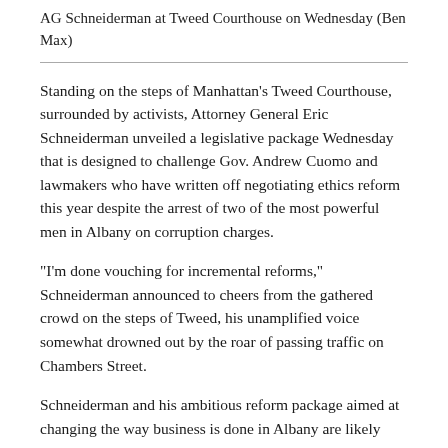AG Schneiderman at Tweed Courthouse on Wednesday (Ben Max)
Standing on the steps of Manhattan's Tweed Courthouse, surrounded by activists, Attorney General Eric Schneiderman unveiled a legislative package Wednesday that is designed to challenge Gov. Andrew Cuomo and lawmakers who have written off negotiating ethics reform this year despite the arrest of two of the most powerful men in Albany on corruption charges.
"I'm done vouching for incremental reforms," Schneiderman announced to cheers from the gathered crowd on the steps of Tweed, his unamplified voice somewhat drowned out by the roar of passing traffic on Chambers Street.
Schneiderman and his ambitious reform package aimed at changing the way business is done in Albany are likely